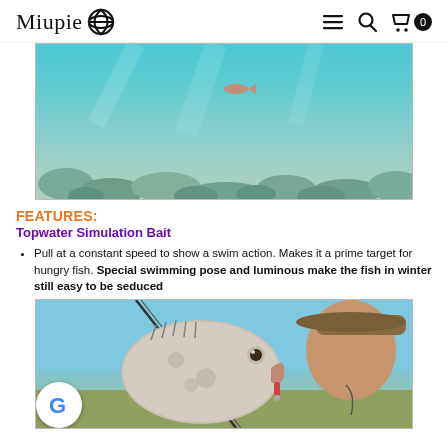Miupie [logo] ≡ 🔍 🛒 0
[Figure (photo): Underwater photo showing clear water with rocky/pebbled seafloor and a small fish or lure visible near the surface]
FEATURES:
Topwater Simulation Bait
Pull at a constant speed to show a swim action. Makes it a prime target for hungry fish. Special swimming pose and luminous make the fish in winter still easy to be seduced
[Figure (photo): Photo of a man holding a large fish (appears to be a drum or similar species) close to the camera with a fishing rod and blue sky in background. A Google logo badge is visible in the lower left corner.]